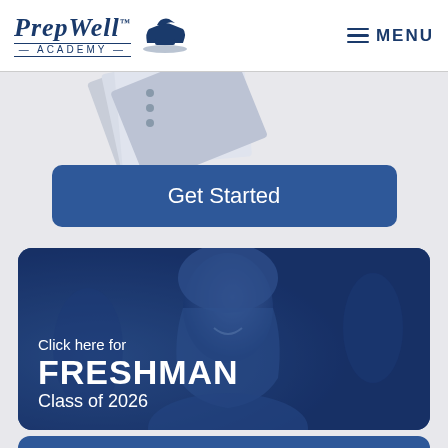PrepWell™ Academy — MENU
[Figure (screenshot): Decorative notebook/books illustration partially visible]
Get Started
[Figure (photo): Card with blue-tinted photo of smiling young woman student. Text overlay reads: Click here for FRESHMAN Class of 2026]